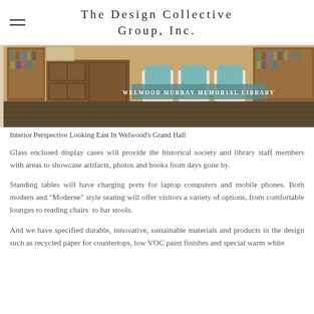The Design Collective Group, Inc.
[Figure (photo): Interior perspective photo of Welwood Murray Memorial Library's Grand Hall showing wood cabinetry, bookshelves, and teal upholstered seating. A teal banner reads 'Welwood Murray Memorial Library'.]
Interior Perspective Looking East In Welwood's Grand Hall
Glass enclosed display cases will provide the historical society and library staff members with areas to showcase artifacts, photos and books from days gone by.
Standing tables will have charging ports for laptop computers and mobile phones. Both modern and "Moderne" style seating will offer visitors a variety of options, from comfortable lounges to reading chairs to bar stools.
And we have specified durable, innovative, sustainable materials and products in the design such as recycled paper for countertops, low VOC paint finishes and special warm white